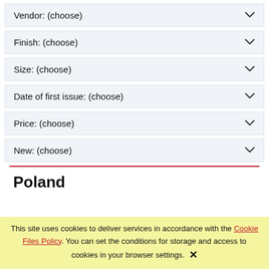Vendor: (choose)
Finish: (choose)
Size: (choose)
Date of first issue: (choose)
Price: (choose)
New: (choose)
Poland
This site uses cookies to deliver services in accordance with the Cookie Files Policy. You can set the conditions for storage and access to cookies in your browser settings. ✕